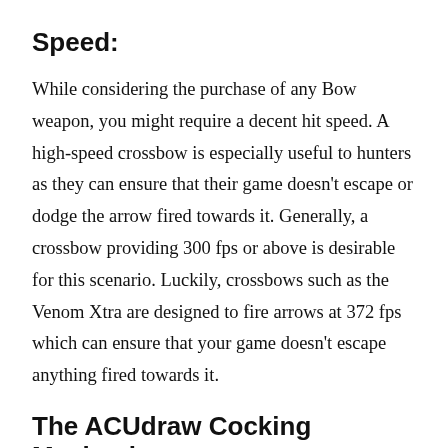Speed:
While considering the purchase of any Bow weapon, you might require a decent hit speed. A high-speed crossbow is especially useful to hunters as they can ensure that their game doesn't escape or dodge the arrow fired towards it. Generally, a crossbow providing 300 fps or above is desirable for this scenario. Luckily, crossbows such as the Venom Xtra are designed to fire arrows at 372 fps which can ensure that your game doesn't escape anything fired towards it.
The ACUdraw Cocking Mechanism: